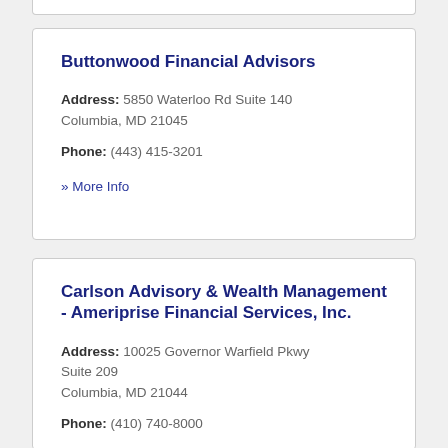Buttonwood Financial Advisors
Address: 5850 Waterloo Rd Suite 140 Columbia, MD 21045
Phone: (443) 415-3201
» More Info
Carlson Advisory & Wealth Management - Ameriprise Financial Services, Inc.
Address: 10025 Governor Warfield Pkwy Suite 209 Columbia, MD 21044
Phone: (410) 740-8000